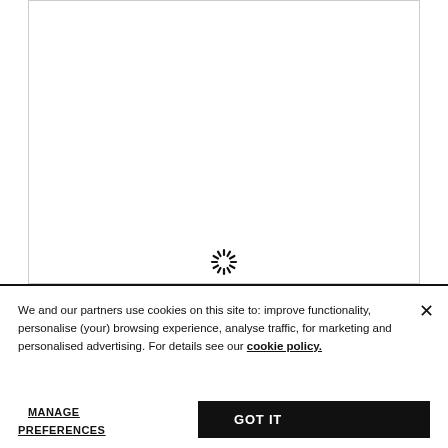[Figure (other): White content area with a loading spinner icon centered in the upper portion of the page]
We and our partners use cookies on this site to: improve functionality, personalise (your) browsing experience, analyse traffic, for marketing and personalised advertising. For details see our cookie policy.
MANAGE PREFERENCES
GOT IT